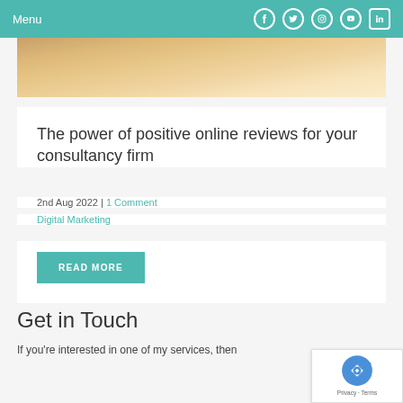Menu
[Figure (photo): Warm beige/sandy wooden surface photo strip used as hero image for blog post]
The power of positive online reviews for your consultancy firm
2nd Aug 2022 | 1 Comment
Digital Marketing
READ MORE
Get in Touch
If you're interested in one of my services, then